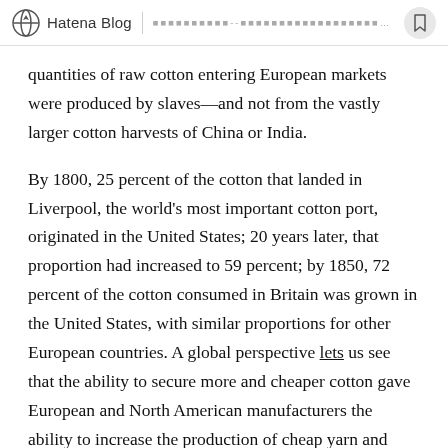Hatena Blog | [subtitle text]
quantities of raw cotton entering European markets were produced by slaves—and not from the vastly larger cotton harvests of China or India.
By 1800, 25 percent of the cotton that landed in Liverpool, the world's most important cotton port, originated in the United States; 20 years later, that proportion had increased to 59 percent; by 1850, 72 percent of the cotton consumed in Britain was grown in the United States, with similar proportions for other European countries. A global perspective lets us see that the ability to secure more and cheaper cotton gave European and North American manufacturers the ability to increase the production of cheap yarn and cloth, which in turn allowed them to outcompete into the markets in